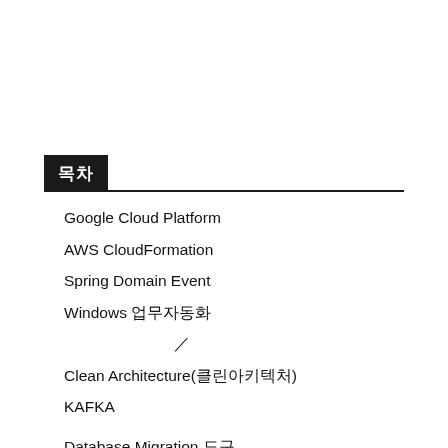목차
Google Cloud Platform
AWS CloudFormation
Spring Domain Event
Windows 업무자동화
규칙 / 정책
Clean Architecture(클린아키텍처)
KAFKA
Database Migration 도구